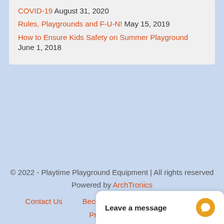COVID-19 August 31, 2020
Rules, Playgrounds and F-U-N! May 15, 2019
How to Ensure Kids Safety on Summer Playground June 1, 2018
© 2022 - Playtime Playground Equipment | All rights reserved
Powered by ArchTronics
Contact Us   Become a Dealer   My account
Privacy policy